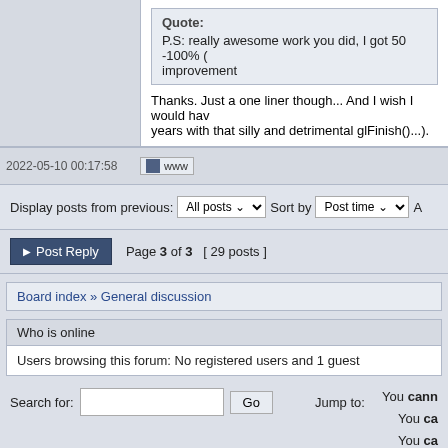Quote: P.S: really awesome work you did, I got 50 -100% ( improvement
Thanks. Just a one liner though... And I wish I would have years with that silly and detrimental glFinish()...).
2022-05-10 00:17:58
Display posts from previous: All posts Sort by Post time
Post Reply  Page 3 of 3  [ 29 posts ]
Board index » General discussion
Who is online
Users browsing this forum: No registered users and 1 guest
You cann
You ca
You ca
You cann
You canne
Search for:    Go    Jump to: